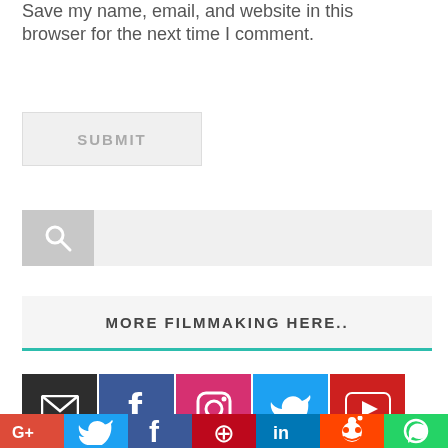Save my name, email, and website in this browser for the next time I comment.
SUBMIT
[Figure (screenshot): Search bar with magnifying glass icon on left and light grey input area on right]
MORE FILMMAKING HERE..
[Figure (infographic): Social media icon buttons: Email (dark grey), Facebook (dark blue), Instagram (pink/red), Twitter (blue), YouTube (red) in first row; Google+ (red), Twitter (blue), Facebook (dark blue), Pinterest (red), LinkedIn (blue), Reddit (orange-red), WhatsApp (green) in second row]